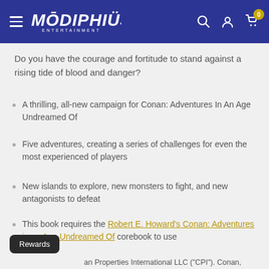Modiphius Entertainment - Navigation header
Do you have the courage and fortitude to stand against a rising tide of blood and danger?
A thrilling, all-new campaign for Conan: Adventures In An Age Undreamed Of
Five adventures, creating a series of challenges for even the most experienced of players
New islands to explore, new monsters to fight, and new antagonists to defeat
This book requires the Robert E. Howard's Conan: Adventures in an Age Undreamed Of corebook to use
nan Properties International LLC ("CPI"). Conan,